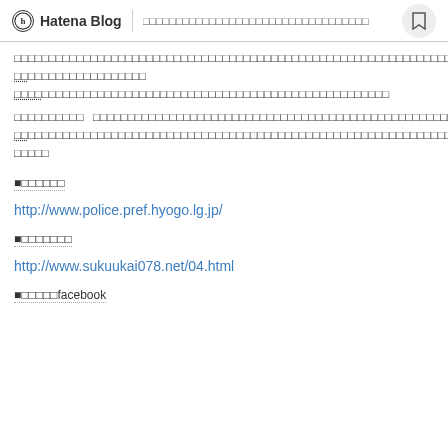Hatena Blog | □□□□□□□□□□□□□□□□□□□□□□□□□□□□□□□□□□
□□□□□□□□□□□□□□□□□□□□□□□□□□□□□□□□□□□□□□□□□□□□□□□□□□□□□□□□□□□□□□□□□□□□□□□□□□□□□□□□□□□□□□□□□□□□□□□□□□□□□□□□□□□□□□□□□□□□□□□□□□□□□□□□□□□□□□□□□□□□□□□□□
□□□□□□□□□□ □□□□□□□□□□□□□□□□□□□□□□□□□□□□□□□□□□□□□□□□□□□□□□□□□□□□□□□□□□□□□□□□□□□□□□□□□□□□□□□□□□□□□□□□□□□□□□□□□□□□□□□□□□□□□□□□□□□□□□□□□□□□□□□□□□□□□□□□□□□□□□□□
■□□□□□□
http://www.police.pref.hyogo.lg.jp/
■□□□□□□□
http://www.sukuukai078.net/04.html
■□□□□□facebook